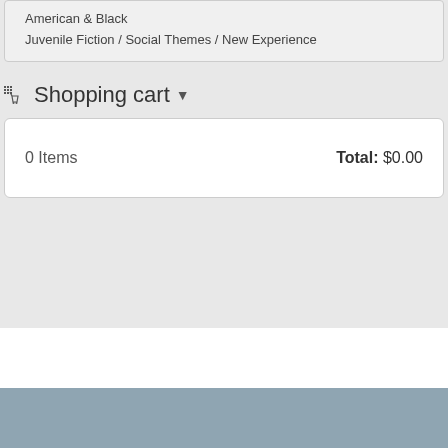American & Black
Juvenile Fiction / Social Themes / New Experience
Shopping cart
| 0 Items | Total: $0.00 |
Contact Us